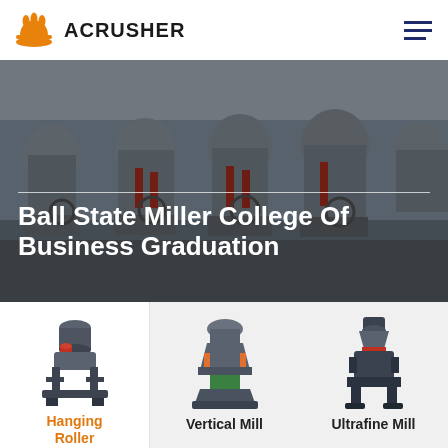[Figure (logo): Acrusher logo: orange hard-hat icon with three handles, text ACRUSHER in bold black caps]
[Figure (photo): Industrial grinding mill machinery on a factory floor, multiple large cylindrical machines with red hydraulic components]
Ball State Miller College Of Business Graduation
[Figure (photo): Hanging Roller Mill machine product photo]
Hanging Roller Mill
[Figure (photo): Vertical Mill machine product photo]
Vertical Mill
[Figure (photo): Ultrafine Mill machine product photo]
Ultrafine Mill